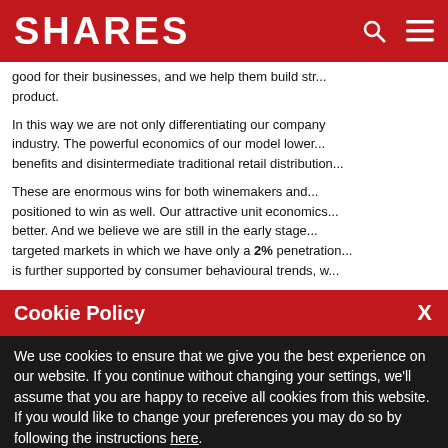SHARES
good for their businesses, and we help them build str... product.
In this way we are not only differentiating our company in the industry. The powerful economics of our model lower... benefits and disintermediate traditional retail distribution...
These are enormous wins for both winemakers and... positioned to win as well. Our attractive unit economics... better. And we believe we are still in the early stage... targeted markets in which we have only a 2% penetration... is further supported by consumer behavioural trends, w...
associated with local provenance...
behaviour, LTV and wine preferences, for the benefit... and our Company.
Our $60 million credit facility signed after the sea...
Cookie Policy
We use cookies to ensure that we give you the best experience on our website. If you continue without changing your settings, we'll assume that you are happy to receive all cookies from this website. If you would like to change your preferences you may do so by following the instructions here.